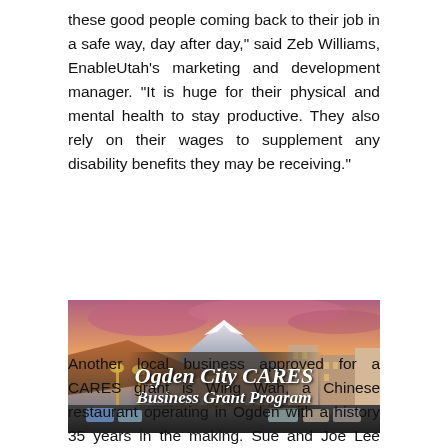these good people coming back to their job in a safe way, day after day," said Zeb Williams, EnableUtah's marketing and development manager. "It is huge for their physical and mental health to stay productive. They also rely on their wages to supplement any disability benefits they may be receiving."
[Figure (photo): Photo of Ogden city street at dusk with mountains in background, overlaid with text reading 'Ogden City CARES Business Grant Program']
Another local business approved for a CARES grant is Wing Wah, a Chinese restaurant operating in Ogden with a history 35 years in the making. Sue and Joe Lee started their first restaurant, Ho Wah (on 24th St. and Monroe Blvd.), in 1985. With the Lees now retired, their daughter, Nancy Keys,